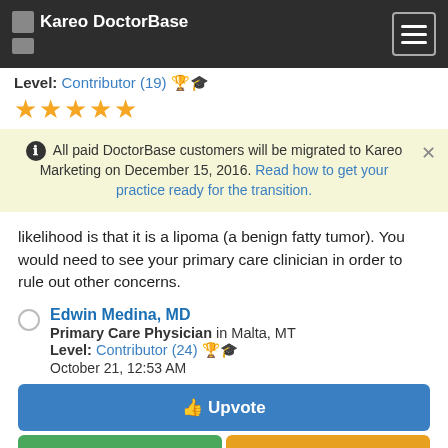Kareo DoctorBase
Level: Contributor (19)
★★★★★
All paid DoctorBase customers will be migrated to Kareo Marketing on December 15, 2016. Read how to get your practice ready for the transition.
likelihood is that it is a lipoma (a benign fatty tumor). You would need to see your primary care clinician in order to rule out other concerns.
Edwin Medina, MD
Primary Care Physician in Malta, MT
Level: Contributor (24)
October 21, 12:53 AM
👍 Upvote
Call
Email
It could be many things , the most likely is a lipoma a non cancerous tumor of fat cells. They are usually soft and are